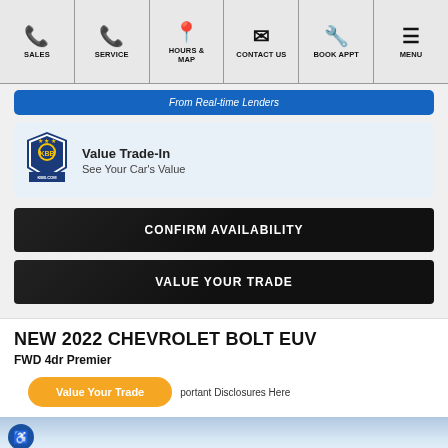SALES | SERVICE | HOURS & MAP | CONTACT US | BOOK APPT | MENU
From Real-time Lenders
[Figure (logo): Kelley Blue Book KBB.COM logo]
Value Trade-In
See Your Car's Value
CONFIRM AVAILABILITY
VALUE YOUR TRADE
NEW 2022 CHEVROLET BOLT EUV
FWD 4dr Premier
Value Your Trade
portant Disclosures Here